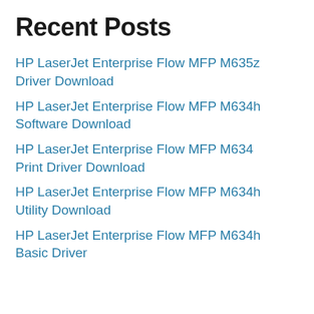Recent Posts
HP LaserJet Enterprise Flow MFP M635z Driver Download
HP LaserJet Enterprise Flow MFP M634h Software Download
HP LaserJet Enterprise Flow MFP M634 Print Driver Download
HP LaserJet Enterprise Flow MFP M634h Utility Download
HP LaserJet Enterprise Flow MFP M634h Basic Driver